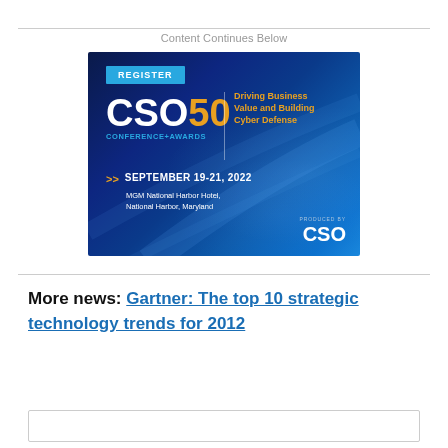Content Continues Below
[Figure (illustration): CSO50 Conference + Awards advertisement banner. Dark blue gradient background with light shimmer. Contains: REGISTER button in cyan, CSO50 logo with orange 50, CONFERENCE+AWARDS in cyan, tagline 'Driving Business Value and Building Cyber Defense' in orange, date SEPTEMBER 19-21, 2022, venue MGM National Harbor Hotel, National Harbor, Maryland, and PRODUCED BY CSO logo at bottom right.]
More news: Gartner: The top 10 strategic technology trends for 2012